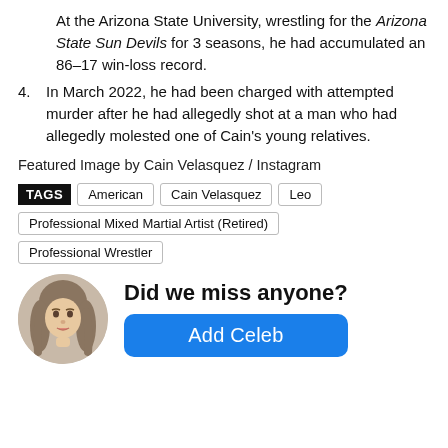At the Arizona State University, wrestling for the Arizona State Sun Devils for 3 seasons, he had accumulated an 86–17 win-loss record.
4. In March 2022, he had been charged with attempted murder after he had allegedly shot at a man who had allegedly molested one of Cain's young relatives.
Featured Image by Cain Velasquez / Instagram
TAGS  American  Cain Velasquez  Leo  Professional Mixed Martial Artist (Retired)  Professional Wrestler
Did we miss anyone?
Add Celeb